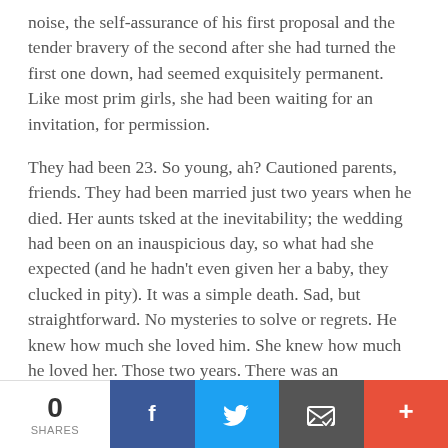noise, the self-assurance of his first proposal and the tender bravery of the second after she had turned the first one down, had seemed exquisitely permanent. Like most prim girls, she had been waiting for an invitation, for permission.
They had been 23. So young, ah? Cautioned parents, friends. They had been married just two years when he died. Her aunts tsked at the inevitability; the wedding had been on an inauspicious day, so what had she expected (and he hadn't even given her a baby, they clucked in pity). It was a simple death. Sad, but straightforward. No mysteries to solve or regrets. He knew how much she loved him. She knew how much he loved her. Those two years. There was an endlessness there that she found extraordinary, impossible. Their blue skies and watercolor breezes bled into the white squares of her calendar, imprinting onto her days even now. On sharp-edged
0 SHARES | Facebook | Twitter | Email | More